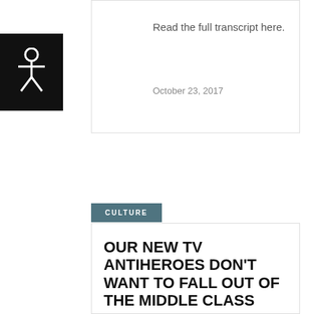[Figure (logo): Black square with white accessibility icon (person with circle)]
Read the full transcript here.
October 23, 2017
CULTURE
OUR NEW TV ANTIHEROES DON'T WANT TO FALL OUT OF THE MIDDLE CLASS